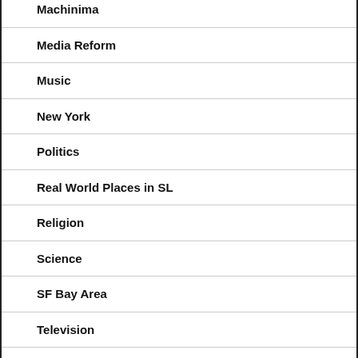Machinima
Media Reform
Music
New York
Politics
Real World Places in SL
Religion
Science
SF Bay Area
Television